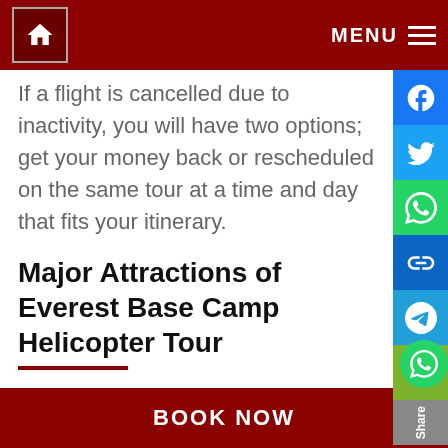If you reschedule 24 hours before takeoff,
Home | MENU
If a flight is cancelled due to inactivity, you will have two options; get your money back or rescheduled on the same tour at a time and day that fits your itinerary.
Major Attractions of Everest Base Camp Helicopter Tour
Kala Patthar (5,545 meters)
Kala Patthar means "“black rock”" in the local Nepali language. It lies on the southern ridge of Mt. Pumori and is the...
BOOK NOW